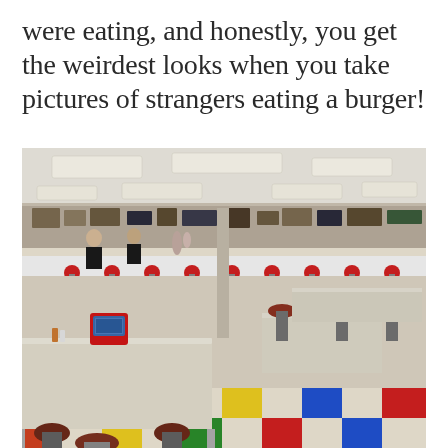were eating, and honestly, you get the weirdest looks when you take pictures of strangers eating a burger!
[Figure (photo): Interior of a retro American diner with checkered colorful floor tiles (red, green, yellow, blue), chrome and vinyl chairs, white formica tables, a counter with stools, ceiling with recessed rectangular fluorescent lights, walls covered in memorabilia and signs, a red tabletop jukebox visible in the foreground, and staff working behind the counter.]